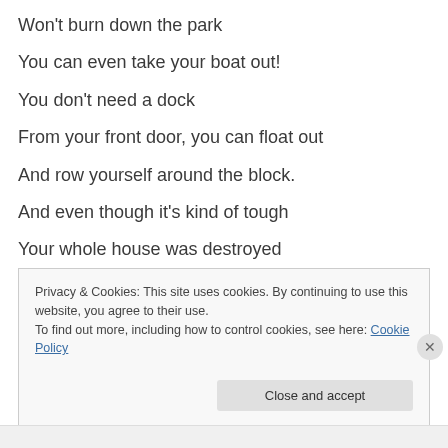Won't burn down the park
You can even take your boat out!
You don't need a dock
From your front door, you can float out
And row yourself around the block.
And even though it's kind of tough
Your whole house was destroyed
Privacy & Cookies: This site uses cookies. By continuing to use this website, you agree to their use.
To find out more, including how to control cookies, see here: Cookie Policy